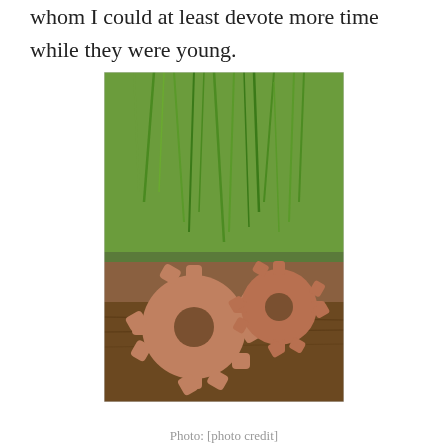whom I could at least devote more time while they were young.
[Figure (photo): A photograph of two interlocking rusty metal gear wheels placed on a wooden surface with green grass visible in the background.]
Photo: [photo credit]